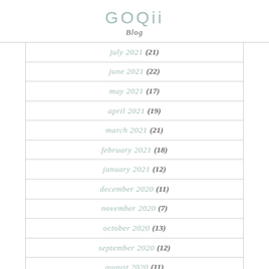GOQii Blog
july 2021 (21)
june 2021 (22)
may 2021 (17)
april 2021 (19)
march 2021 (21)
february 2021 (18)
january 2021 (12)
december 2020 (11)
november 2020 (7)
october 2020 (13)
september 2020 (12)
august 2020 (11)